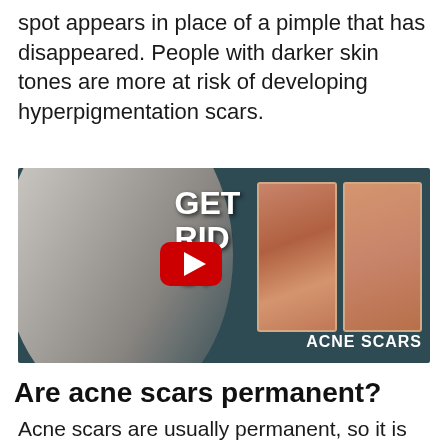spot appears in place of a pimple that has disappeared. People with darker skin tones are more at risk of developing hyperpigmentation scars.
[Figure (screenshot): YouTube video thumbnail showing a smiling young man on the left, text 'GET RID OF' on the thumbnail, a YouTube play button in the center, and two side-by-side skin close-up images labeled 'ACNE SCARS' on the right, all on a dark teal/blue background.]
Are acne scars permanent?
Acne scars are usually permanent, so it is important to see a dermatologist if you are